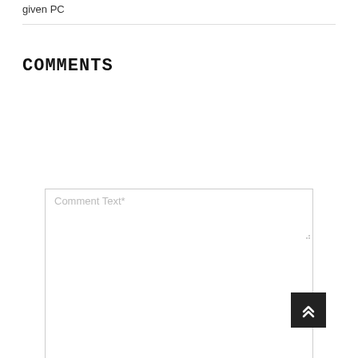given PC
COMMENTS
[Figure (screenshot): A web form comment section with a large textarea labeled 'Comment Text*', a name input field labeled 'Name*', and a partial email input field at the bottom. A dark scroll-to-top button with double chevron up arrow is visible in the bottom right.]